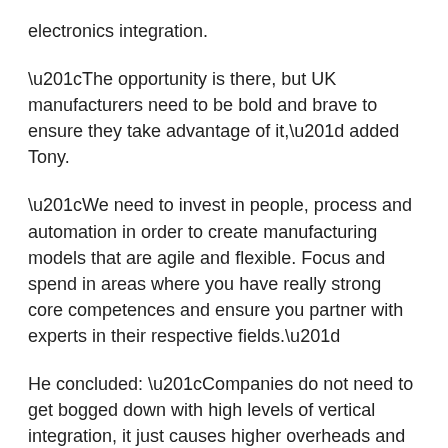electronics integration.
“The opportunity is there, but UK manufacturers need to be bold and brave to ensure they take advantage of it,” added Tony.
“We need to invest in people, process and automation in order to create manufacturing models that are agile and flexible. Focus and spend in areas where you have really strong core competences and ensure you partner with experts in their respective fields.”
He concluded: “Companies do not need to get bogged down with high levels of vertical integration, it just causes higher overheads and can lead to lack of flexibility when capacity and demand cycles changes.